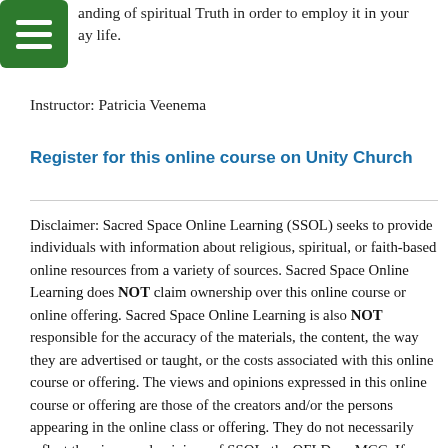will be encouraged to awaken your awareness and understanding of spiritual Truth in order to employ it in your daily life.
Instructor: Patricia Veenema
Register for this online course on Unity Church
Disclaimer: Sacred Space Online Learning (SSOL) seeks to provide individuals with information about religious, spiritual, or faith-based online resources from a variety of sources. Sacred Space Online Learning does NOT claim ownership over this online course or online offering. Sacred Space Online Learning is also NOT responsible for the accuracy of the materials, the content, the way they are advertised or taught, or the costs associated with this online course or offering. The views and opinions expressed in this online course or offering are those of the creators and/or the persons appearing in the online class or offering. They do not necessarily reflect the views and opinions of SSOL, the OFLD, or MCC. If you have any questions or concerns please contact the creator(s) of the given online course or on